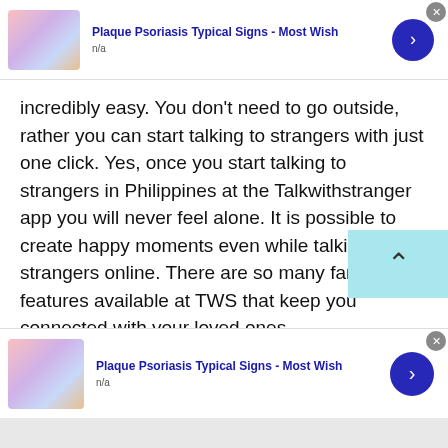[Figure (other): Top advertisement banner: thumbnail image of skin with psoriasis, title 'Plaque Psoriasis Typical Signs - Most Wish', subtitle 'n/a', blue arrow button, close button]
incredibly easy. You don't need to go outside, rather you can start talking to strangers with just one click. Yes, once you start talking to strangers in Philippines at the Talkwithstranger app you will never feel alone. It is possible to create happy moments even while talking to strangers online. There are so many fantastic features available at TWS that keep you connected with your loved ones.

So, if you ever feel alone and get rid of boredom
[Figure (other): Bottom advertisement banner: thumbnail image of skin with psoriasis, title 'Plaque Psoriasis Typical Signs - Most Wish', subtitle 'n/a', blue arrow button, close button]